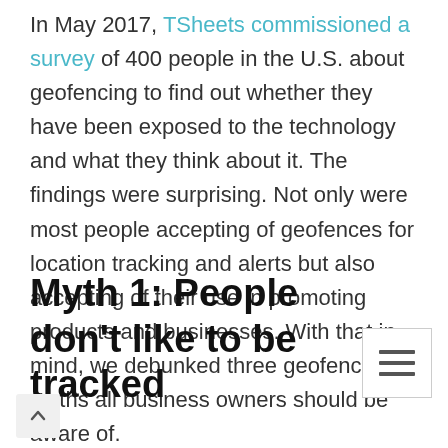In May 2017, TSheets commissioned a survey of 400 people in the U.S. about geofencing to find out whether they have been exposed to the technology and what they think about it. The findings were surprising. Not only were most people accepting of geofences for location tracking and alerts but also accepting of their use in promoting products and businesses. With that in mind, we debunked three geofencing myths all business owners should be aware of.
Myth 1: People don't like to be tracked